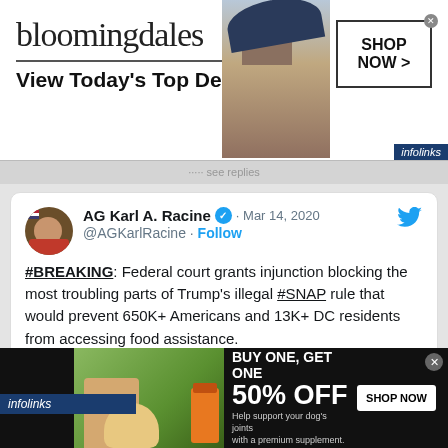[Figure (screenshot): Bloomingdale's advertisement banner: logo text 'bloomingdales', tagline 'View Today's Top Deals!', model photo, and 'SHOP NOW >' button box. Infolinks badge bottom right.]
[Figure (screenshot): Tweet by AG Karl A. Racine (@AGKarlRacine) dated Mar 14, 2020 with verified badge and Follow link. Tweet text: '#BREAKING: Federal court grants injunction blocking the most troubling parts of Trump's illegal #SNAP rule that would prevent 650K+ Americans and 13K+ DC residents from accessing food assistance. W/@NewYorkStateAG & 20 states, we are fighting to protect the most vulnerable in US'. Twitter bird icon top right. Blue infolinks bar at bottom.]
[Figure (screenshot): Petco advertisement: 'BUY ONE, GET ONE 50% OFF - Help support your dog's joints with a premium supplement. SHOP NOW' with petco logo, woman with golden retriever, and supplement bottle image.]